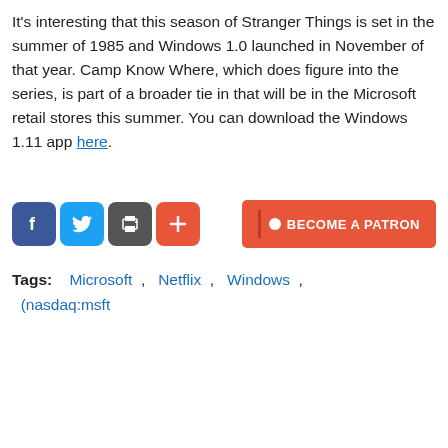It's interesting that this season of Stranger Things is set in the summer of 1985 and Windows 1.0 launched in November of that year. Camp Know Where, which does figure into the series, is part of a broader tie in that will be in the Microsoft retail stores this summer. You can download the Windows 1.11 app here.
[Figure (infographic): Social sharing buttons: Facebook (blue), Twitter (light blue), print (gray), plus/more (orange-red). Patreon button on the right: orange-red with vertical bar, circle dot, and text BECOME A PATRON.]
Tags:   Microsoft ,   Netflix ,   Windows ,   (nasdaq:msft